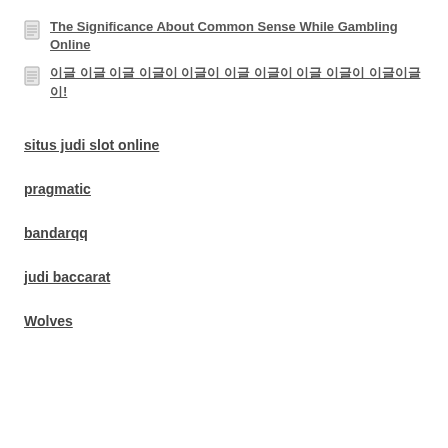The Significance About Common Sense While Gambling Online
이 글 이 글 이글이 이글이 이글 이글 이글이 이글이 이글이글이!
situs judi slot online
pragmatic
bandarqq
judi baccarat
Wolves